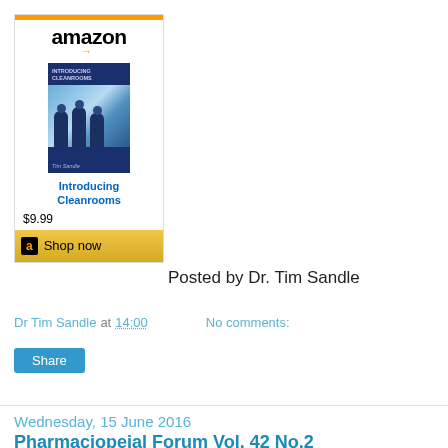[Figure (screenshot): Amazon widget showing book 'Introducing Cleanrooms' by Tim Sandle priced at $9.99 with a 'Shop now' button]
Posted by Dr. Tim Sandle
Dr Tim Sandle at 14:00    No comments:
Share
Wednesday, 15 June 2016
Pharmaciopeial Forum Vol. 42 No.2